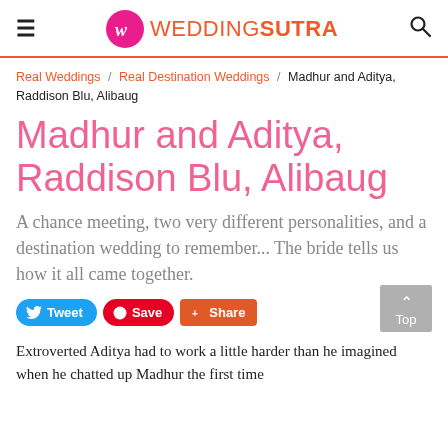WEDDINGSUTRA
Real Weddings / Real Destination Weddings / Madhur and Aditya, Raddison Blu, Alibaug
Madhur and Aditya, Raddison Blu, Alibaug
A chance meeting, two very different personalities, and a destination wedding to remember... The bride tells us how it all came together.
Tweet  Save  Share
Extroverted Aditya had to work a little harder than he imagined when he chatted up Madhur the first time